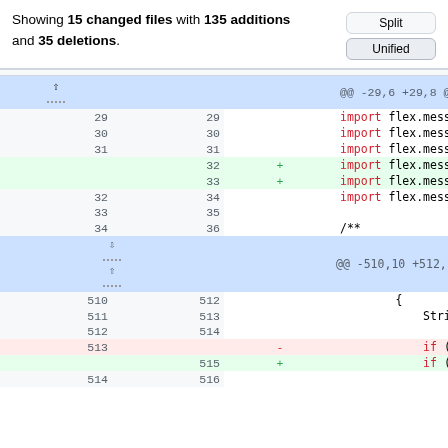Showing 15 changed files with 135 additions and 35 deletions.
[Figure (screenshot): Git diff view showing code changes with split/unified toggle buttons, line numbers, and diff hunks for import statements and if(isDebug) block changes.]